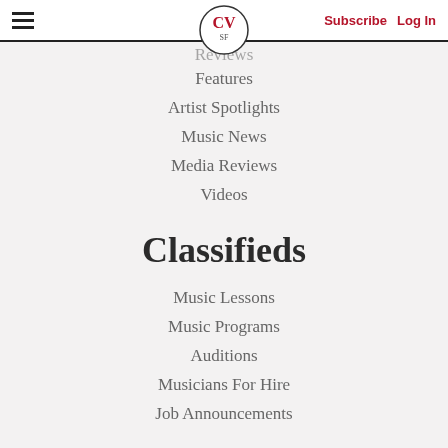CV SF | Subscribe | Log In
Reviews
Features
Artist Spotlights
Music News
Media Reviews
Videos
Classifieds
Music Lessons
Music Programs
Auditions
Musicians For Hire
Job Announcements
Learning